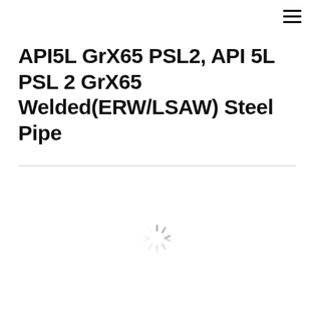[Figure (other): Hamburger menu icon — three horizontal lines stacked vertically, top-right corner]
API5L GrX65 PSL2, API 5L PSL 2 GrX65 Welded(ERW/LSAW) Steel Pipe
[Figure (other): Loading spinner icon — gray radial spokes arranged in a circle indicating content loading]